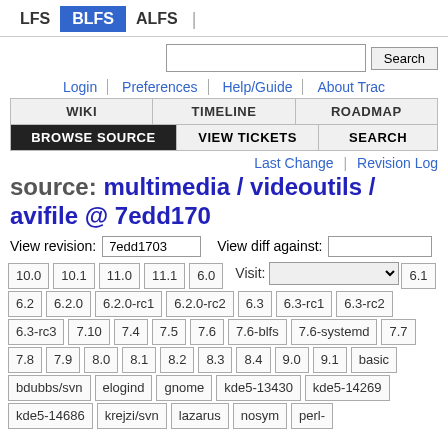LFS  BLFS  ALFS
Login | Preferences | Help/Guide | About Trac
WIKI  TIMELINE  ROADMAP  BROWSE SOURCE  VIEW TICKETS  SEARCH
Last Change | Revision Log
source: multimedia / videoutils / avifile @ 7edd170
View revision: 7edd1703   View diff against:
10.0 10.1 11.0 11.1 6.0  Visit: [dropdown]  6.1 6.2 6.2.0 6.2.0-rc1  6.2.0-rc2 6.3 6.3-rc1 6.3-rc2 6.3-rc3 7.10 7.4 7.5 7.6  7.6-blfs 7.6-systemd 7.7 7.8 7.9 8.0 8.1 8.2 8.3 8.4  9.0 9.1 basic bdubbs/svn elogind gnome kde5-13430  kde5-14269 kde5-14686 krejzi/svn lazarus nosym perl-